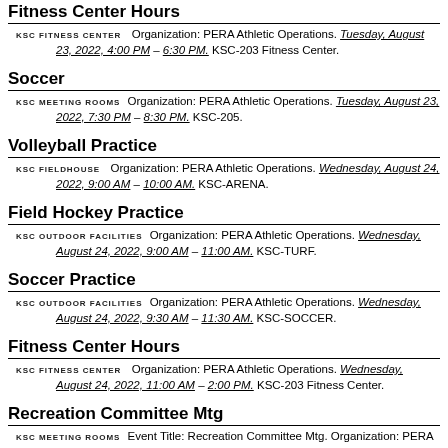Fitness Center Hours
KSC FITNESS CENTER   Organization: PERA Athletic Operations. Tuesday, August 23, 2022, 4:00 PM – 6:30 PM. KSC-203 Fitness Center.
Soccer
KSC MEETING ROOMS   Organization: PERA Athletic Operations. Tuesday, August 23, 2022, 7:30 PM – 8:30 PM. KSC-205.
Volleyball Practice
KSC FIELDHOUSE   Organization: PERA Athletic Operations. Wednesday, August 24, 2022, 9:00 AM – 10:00 AM. KSC-ARENA.
Field Hockey Practice
KSC OUTDOOR FACILITIES   Organization: PERA Athletic Operations. Wednesday, August 24, 2022, 9:00 AM – 11:00 AM. KSC-TURF.
Soccer Practice
KSC OUTDOOR FACILITIES   Organization: PERA Athletic Operations. Wednesday, August 24, 2022, 9:30 AM – 11:30 AM. KSC-SOCCER.
Fitness Center Hours
KSC FITNESS CENTER   Organization: PERA Athletic Operations. Wednesday, August 24, 2022, 11:00 AM – 2:00 PM. KSC-203 Fitness Center.
Recreation Committee Mtg
KSC MEETING ROOMS   Event Title: Recreation Committee Mtg. Organization: PERA Athletic Operations. Wednesday, August 24, 2022...